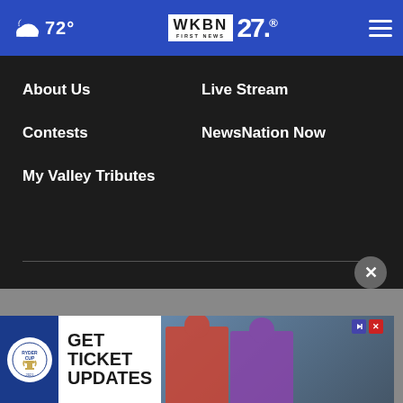72° WKBN First News 27
About Us
Live Stream
Contests
NewsNation Now
My Valley Tributes
Contact Us
Closed Captioning
FCC Public File
FCC Children's Report
WKBN EEO Report
About Our Ads
Nexstar
[Figure (screenshot): Advertisement banner for Ryder Cup showing 'GET TICKET UPDATES' text with logo and golfer photos]